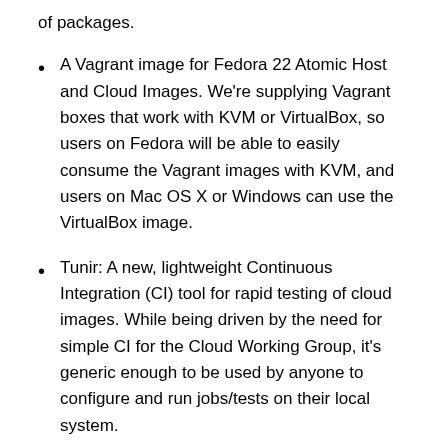of packages.
A Vagrant image for Fedora 22 Atomic Host and Cloud Images. We're supplying Vagrant boxes that work with KVM or VirtualBox, so users on Fedora will be able to easily consume the Vagrant images with KVM, and users on Mac OS X or Windows can use the VirtualBox image.
Tunir: A new, lightweight Continuous Integration (CI) tool for rapid testing of cloud images. While being driven by the need for simple CI for the Cloud Working Group, it's generic enough to be used by anyone to configure and run jobs/tests on their local system.